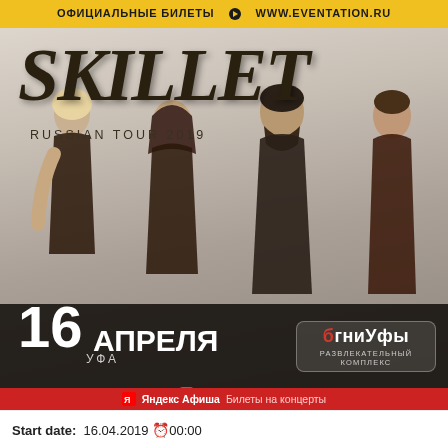ОФИЦИАЛЬНЫЕ БИЛЕТЫ ▶ WWW.EVENTATION.RU
[Figure (photo): Concert poster for Skillet Russian Tour 2019. Shows four band members standing against a crumpled white/grey background. Text overlay at bottom shows date and venue details. Top yellow bar shows official tickets website.]
SKILLET
RUSSIAN TOUR 2019
16 АПРЕЛЯ УФА
Огни Уфы РАЗВЛЕКАТЕЛЬНЫЙ КОМПЛЕКС
vk.com/eventation
2+
Яндекс Афиша Билеты на концерты
Start date:  16.04.2019 🕐00:00